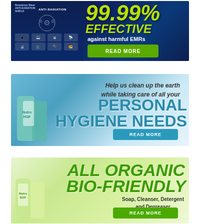[Figure (illustration): Advertisement banner: Anti-radiation product. Dark blue tech background with device icons on left side showing anti-radiation shield. Right side shows '99.99% EFFECTIVE against harmful EMRs' in yellow-green text with a green READ MORE button.]
[Figure (illustration): Advertisement banner: Personal hygiene product (NutroHGF). Light blue background with earth/globe imagery and hands. Text reads 'Help us clean up the earth while taking care of all your PERSONAL HYGIENE NEEDS' with teal READ MORE button and product bottles on left.]
[Figure (illustration): Advertisement banner: All Organic Bio-Friendly product (NutroBGF). Green nature background with product bottles on left. Text reads 'ALL ORGANIC BIO-FRIENDLY Soap, Cleanser, Detergent and Degreaser' in green text with green READ MORE button.]